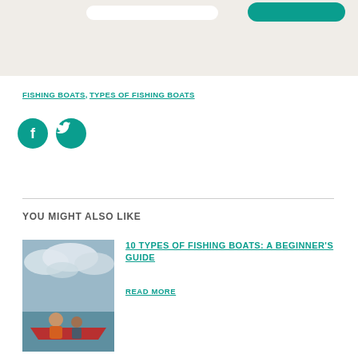[Figure (photo): Partial view of a webpage header area with a beige/cream background, a white rounded element and a teal rounded button]
FISHING BOATS, TYPES OF FISHING BOATS
[Figure (infographic): Teal Facebook and Twitter social media icon buttons]
YOU MIGHT ALSO LIKE
[Figure (photo): Photo of people on a fishing boat on water with cloudy sky]
10 TYPES OF FISHING BOATS: A BEGINNER'S GUIDE
READ MORE